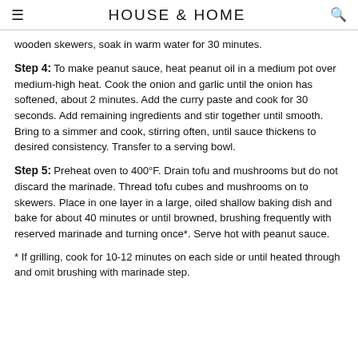HOUSE & HOME
wooden skewers, soak in warm water for 30 minutes.
Step 4: To make peanut sauce, heat peanut oil in a medium pot over medium-high heat. Cook the onion and garlic until the onion has softened, about 2 minutes. Add the curry paste and cook for 30 seconds. Add remaining ingredients and stir together until smooth. Bring to a simmer and cook, stirring often, until sauce thickens to desired consistency. Transfer to a serving bowl.
Step 5: Preheat oven to 400°F. Drain tofu and mushrooms but do not discard the marinade. Thread tofu cubes and mushrooms on to skewers. Place in one layer in a large, oiled shallow baking dish and bake for about 40 minutes or until browned, brushing frequently with reserved marinade and turning once*. Serve hot with peanut sauce.
* If grilling, cook for 10-12 minutes on each side or until heated through and omit brushing with marinade step.